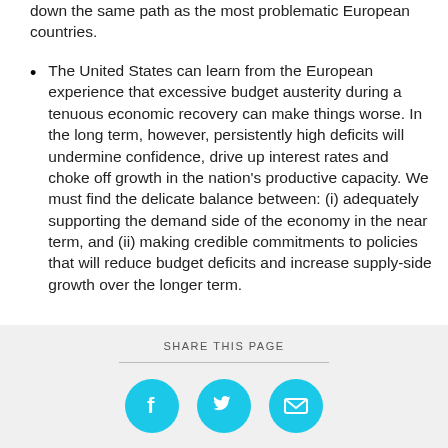down the same path as the most problematic European countries.
The United States can learn from the European experience that excessive budget austerity during a tenuous economic recovery can make things worse. In the long term, however, persistently high deficits will undermine confidence, drive up interest rates and choke off growth in the nation’s productive capacity. We must find the delicate balance between: (i) adequately supporting the demand side of the economy in the near term, and (ii) making credible commitments to policies that will reduce budget deficits and increase supply-side growth over the longer term.
SHARE THIS PAGE